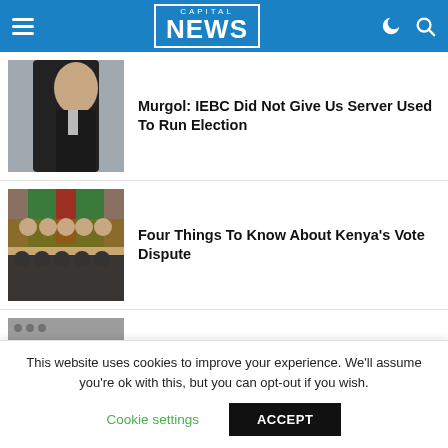Capital NEWS
[Figure (photo): Man in dark suit, partially visible, news thumbnail]
Murgol: IEBC Did Not Give Us Server Used To Run Election
[Figure (photo): Courtroom scene with people seated at long tables, Kenyan flag in background]
Four Things To Know About Kenya's Vote Dispute
[Figure (photo): Blurred image of a document reading PRESIDENTIAL ELECTION]
Azimio, IEBC Go For Each Other's Jugular On Evidence Of Portal Interference
This website uses cookies to improve your experience. We'll assume you're ok with this, but you can opt-out if you wish.
Cookie settings
ACCEPT